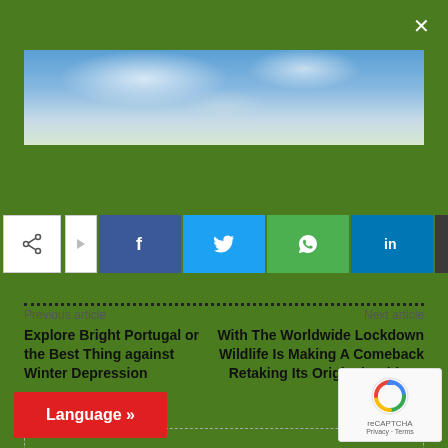[Figure (photo): Sky with clouds, blue sky background image used as article header]
[Figure (infographic): Social share bar with share icon, arrow, and buttons for Facebook, Twitter, WhatsApp, LinkedIn, and Email]
Previous article
Next article
Explore Bright Portugal or the Best Thing against Winter Depression
With The Worldwide Lockdown Wildlife Is Making A Comeback Retaking Its Original Habitats
- Advertisement -
Language »
[Figure (logo): Google reCAPTCHA badge with spinning logo, Privacy and Terms links]